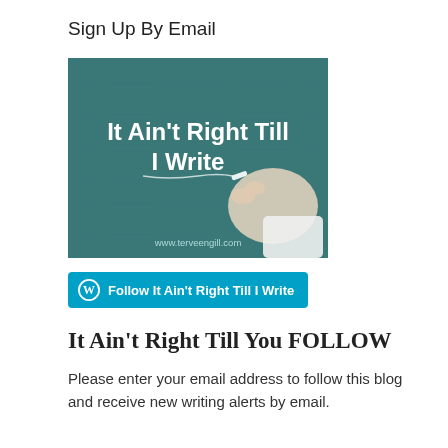Sign Up By Email
[Figure (photo): Blog logo image showing a hand writing on a chalkboard with text 'It Ain't Right Till I Write' and url www.terveengill.com]
[Figure (other): WordPress Follow button: 'Follow It Ain't Right Till I Write']
It Ain't Right Till You FOLLOW
Please enter your email address to follow this blog and receive new writing alerts by email.